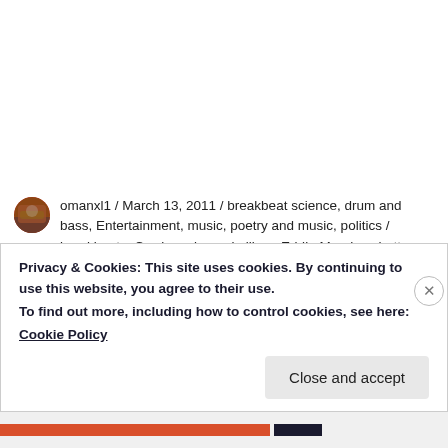omanxl1 / March 13, 2011 / breakbeat science, drum and bass, Entertainment, music, poetry and music, politics / breakbeats, Cowboy, drama in libya, Eddie Murphy, ghetto superstar, Hollywood, Libya, Lord, Marvin Gaye, michael jackson remember the time video, o-dog
Privacy & Cookies: This site uses cookies. By continuing to use this website, you agree to their use.
To find out more, including how to control cookies, see here:
Cookie Policy
Close and accept